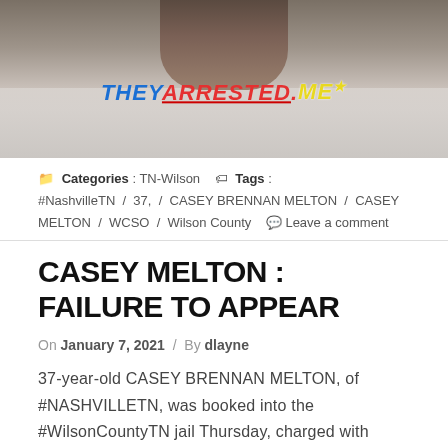[Figure (photo): Mugshot/booking photo of Casey Brennan Melton, showing a man from chest up wearing a white textured shirt, with a watermark reading THEYARRESTED.ME overlaid on the image.]
Categories : TN-Wilson   Tags : #NashvilleTN / 37, / CASEY BRENNAN MELTON / CASEY MELTON / WCSO / Wilson County   Leave a comment
CASEY MELTON : FAILURE TO APPEAR
On January 7, 2021  /  By dlayne
37-year-old CASEY BRENNAN MELTON, of #NASHVILLETN, was booked into the #WilsonCountyTN jail Thursday, charged with FAILURE TO APPEAR . Bond was set at : 0